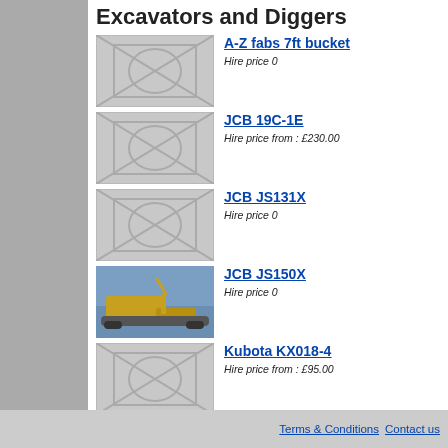Excavators and Diggers
A-Z fabs 7ft bucket
Hire price 0
JCB 19C-1E
Hire price from : £230.00
JCB JS131X
Hire price 0
JCB JS150X
Hire price 0
Kubota KX018-4
Hire price from : £95.00
Kubota KX057-4 360 5T
Hire price 0
Kubota KX080-4
Hire price 0
Takeuchi TB295W
Terms & Conditions  Contact us